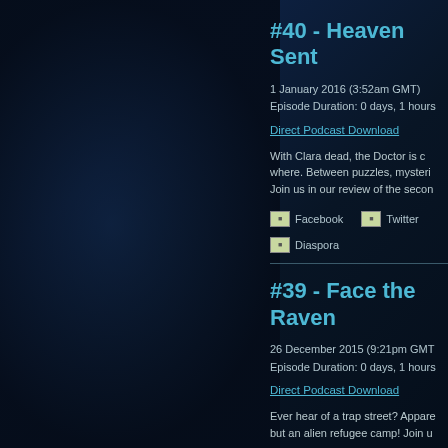[Figure (illustration): Dark blue atmospheric background with shadowy figure on left side]
#40 - Heaven Sent
1 January 2016 (3:52am GMT)
Episode Duration: 0 days, 1 hours
Direct Podcast Download
With Clara dead, the Doctor is c... where. Between puzzles, mysteri... Join us in our review of the secon...
[Figure (logo): Facebook icon]
[Figure (logo): Twitter icon]
[Figure (logo): Diaspora icon]
#39 - Face the Raven
26 December 2015 (9:21pm GMT)
Episode Duration: 0 days, 1 hours
Direct Podcast Download
Ever hear of a trap street? Appare... but an alien refugee camp! Join u...